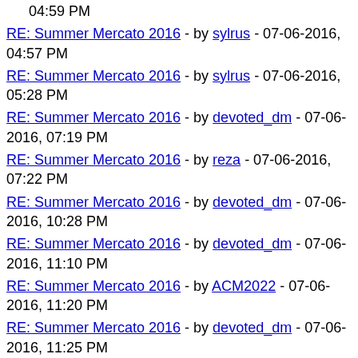04:59 PM
RE: Summer Mercato 2016 - by sylrus - 07-06-2016, 04:57 PM
RE: Summer Mercato 2016 - by sylrus - 07-06-2016, 05:28 PM
RE: Summer Mercato 2016 - by devoted_dm - 07-06-2016, 07:19 PM
RE: Summer Mercato 2016 - by reza - 07-06-2016, 07:22 PM
RE: Summer Mercato 2016 - by devoted_dm - 07-06-2016, 10:28 PM
RE: Summer Mercato 2016 - by devoted_dm - 07-06-2016, 11:10 PM
RE: Summer Mercato 2016 - by ACM2022 - 07-06-2016, 11:20 PM
RE: Summer Mercato 2016 - by devoted_dm - 07-06-2016, 11:25 PM
RE: Summer Mercato 2016 - by nefremo - 07-06-2016, 11:54 PM
RE: Summer Mercato 2016 - by slifersd - 07-07-2016, 12:29 AM
RE: Summer Mercato 2016 - by GeoTav - 07-07-2016, 08:18 AM
RE: Summer Mercato 2016 - by ACMILAN1983 - 07-07-2016, 09:21 AM
RE: Summer Mercato 2016 - by devoted_dm - 07-07-2016, 12:48 AM
RE: Summer Mercato 2016 - by nefremo - 07-07-2016, 01:07 AM